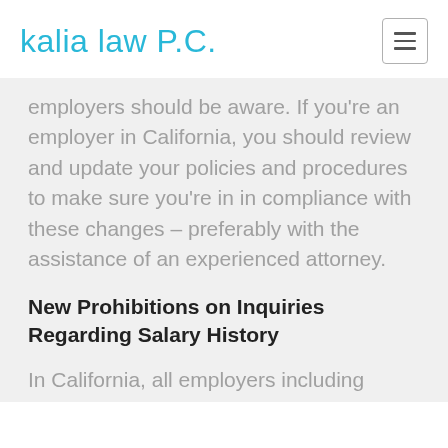kalia law P.C.
employers should be aware. If you're an employer in California, you should review and update your policies and procedures to make sure you're in in compliance with these changes – preferably with the assistance of an experienced attorney.
New Prohibitions on Inquiries Regarding Salary History
In California, all employers including those in state and local government have parameters surrounding salary history questions of potential employees